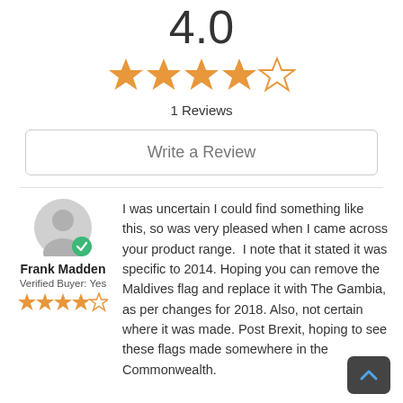4.0
[Figure (other): 4 out of 5 stars rating (4 filled orange stars, 1 empty star)]
1 Reviews
Write a Review
Frank Madden
Verified Buyer: Yes
[Figure (other): 4 out of 5 stars reviewer rating (4 filled orange stars, 1 empty star)]
I was uncertain I could find something like this, so was very pleased when I came across your product range.  I note that it stated it was specific to 2014. Hoping you can remove the Maldives flag and replace it with The Gambia, as per changes for 2018. Also, not certain where it was made. Post Brexit, hoping to see these flags made somewhere in the Commonwealth.